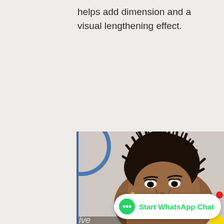helps add dimension and a visual lengthening effect.
[Figure (photo): Close-up portrait of a woman with a short, spiky pixie cut hairstyle, wearing red lipstick and glamorous eye makeup, smiling, with event signage partially visible in the background.]
Start WhatsApp Chat